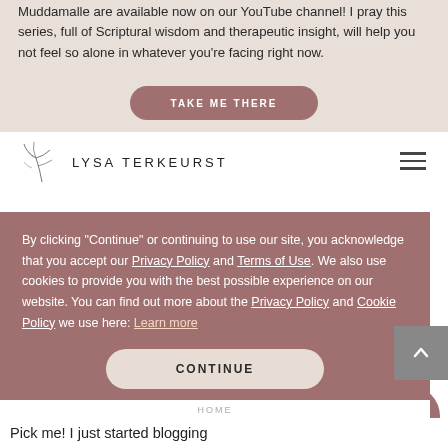Muddamalle are available now on our YouTube channel! I pray this series, full of Scriptural wisdom and therapeutic insight, will help you not feel so alone in whatever you're facing right now.
TAKE ME THERE
[Figure (logo): Lysa TerKeurst logo with leaf illustration and text 'LYSA TERKEURST']
By clicking "Continue" or continuing to use our site, you acknowledge that you accept our Privacy Policy and Terms of Use. We also use cookies to provide you with the best possible experience on our website. You can find out more about the Privacy Policy and Cookie Policy we use here: Learn more
CONTINUE
Pick me! I just started blogging